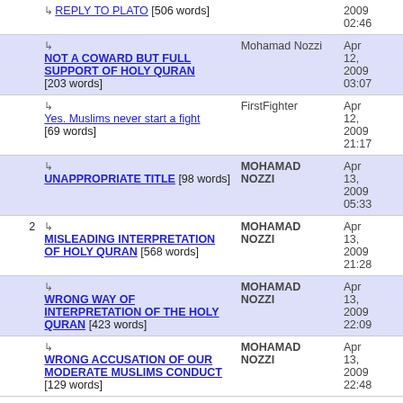| # | Title | Author | Date |
| --- | --- | --- | --- |
|  | ↳ REPLY TO PLATO [506 words] |  | 2009 02:46 |
|  | ↳ NOT A COWARD BUT FULL SUPPORT OF HOLY QURAN [203 words] | Mohamad Nozzi | Apr 12, 2009 03:07 |
|  | ↳ Yes. Muslims never start a fight [69 words] | FirstFighter | Apr 12, 2009 21:17 |
|  | ↳ UNAPPROPRIATE TITLE [98 words] | MOHAMAD NOZZI | Apr 13, 2009 05:33 |
| 2 | ↳ MISLEADING INTERPRETATION OF HOLY QURAN [568 words] | MOHAMAD NOZZI | Apr 13, 2009 21:28 |
|  | ↳ WRONG WAY OF INTERPRETATION OF THE HOLY QURAN [423 words] | MOHAMAD NOZZI | Apr 13, 2009 22:09 |
|  | ↳ WRONG ACCUSATION OF OUR MODERATE MUSLIMS CONDUCT [129 words] | MOHAMAD NOZZI | Apr 13, 2009 22:48 |